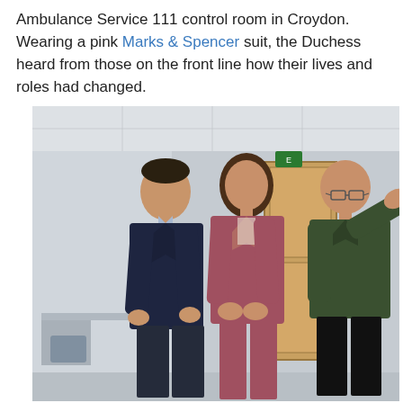Ambulance Service 111 control room in Croydon. Wearing a pink Marks & Spencer suit, the Duchess heard from those on the front line how their lives and roles had changed.
[Figure (photo): Three people standing in an office corridor. On the left, a tall man in a dark navy suit with a light blue shirt. In the centre, a woman in a pink/mauve trouser suit with brown hair. On the right, an older bald man wearing glasses and a dark green jacket, gesturing with his right arm pointing to the right.]